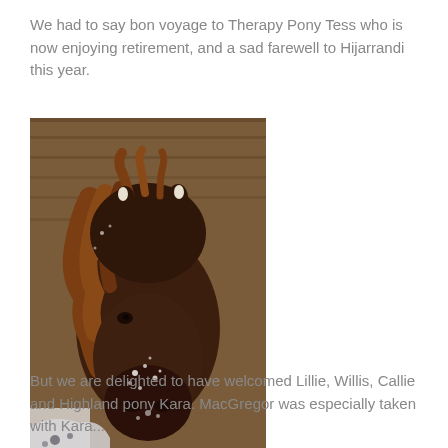We had to say bon voyage to Therapy Pony Tess who is now enjoying retirement, and a sad farewell to Hijarrandi this year.
[Figure (photo): Close-up photograph of a brown pony with a long mane, dusted with snow on its face and nose, standing in front of a wooden barn wall.]
But we are delighted to have welcomed Lillie, Willis, Callie and Highland pony Kara. MacGregor was especially taken with Kara...